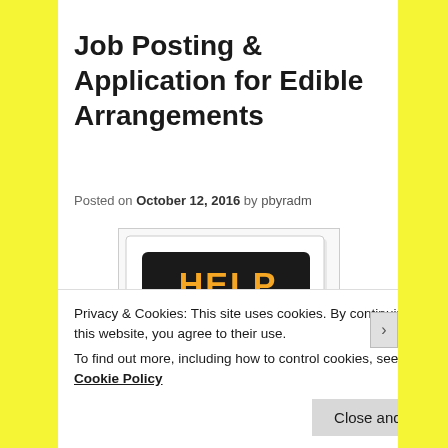Job Posting & Application for Edible Arrangements
Posted on October 12, 2016 by pbyradm
[Figure (photo): Help Wanted sign — black background with orange bold text reading HELP WANTED]
Below and attached are details for positions offered for Edible Arrangements, this Company would like to hire
Privacy & Cookies: This site uses cookies. By continuing to use this website, you agree to their use.
To find out more, including how to control cookies, see here: Cookie Policy
Close and accept